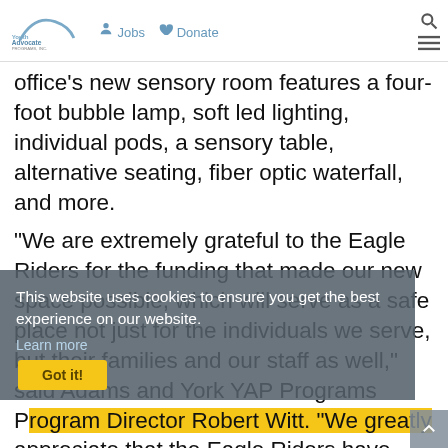Youth Advocate Programs, Inc. | Jobs | Donate
office's new sensory room features a four-foot bubble lamp, soft led lighting, individual pods, a sensory table, alternative seating, fiber optic waterfall, and more.
“We are extremely grateful to the Eagle Riders for the funding that made our new space possible, which will serve as a safe place not just for the individuals we serve, but their families and our staff as well,” said Adams and York YAP Programs Program Director Robert Witt. “We greatly appreciate that the Eagle Riders have once again, chosen YAP’s ASSET Program as the beneficiary of their Roll and
This website uses cookies to ensure you get the best experience on our website.
Learn more
Got it!